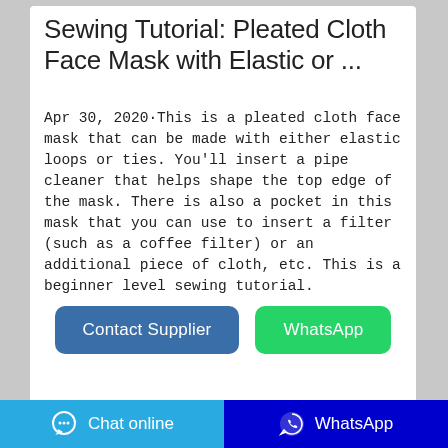Sewing Tutorial: Pleated Cloth Face Mask with Elastic or ...
Apr 30, 2020·This is a pleated cloth face mask that can be made with either elastic loops or ties. You'll insert a pipe cleaner that helps shape the top edge of the mask. There is also a pocket in this mask that you can use to insert a filter (such as a coffee filter) or an additional piece of cloth, etc. This is a beginner level sewing tutorial.
[Figure (other): Two buttons: 'Contact Supplier' (blue) and 'WhatsApp' (green)]
[Figure (photo): Photo of a light blue pleated cloth face mask with white elastic loops]
Chat online   WhatsApp